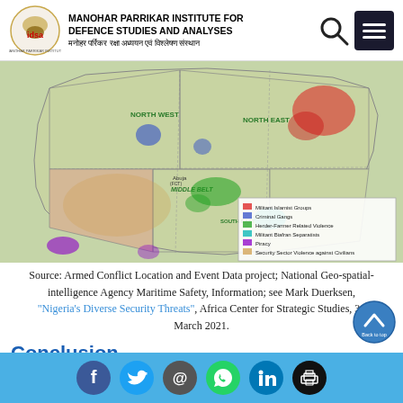MANOHAR PARRIKAR INSTITUTE FOR DEFENCE STUDIES AND ANALYSES | मनोहर पर्रिकर रक्षा अध्ययन एवं विश्लेषण संस्थान
[Figure (map): Heat map of Nigeria showing security threats by region: Militant Islamist Groups (red, concentrated in North East), Criminal Gangs (blue), Herder-Farmer Related Violence (green, Middle Belt), Militant Biafran Separatists (teal), Piracy (purple, South South coast), Security Sector Violence against Civilians (orange). Regions labeled: North West, North East, South West, South South, South East, Middle Belt.]
Source: Armed Conflict Location and Event Data project; National Geo-spatial-intelligence Agency Maritime Safety, Information; see Mark Duerksen, "Nigeria's Diverse Security Threats", Africa Center for Strategic Studies, 30 March 2021.
Conclusion
Social media sharing icons: Facebook, Twitter, Email, WhatsApp, LinkedIn, Print